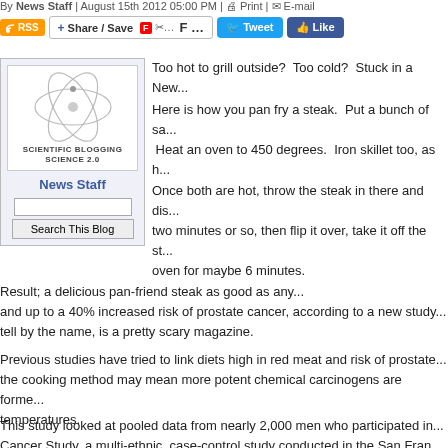By News Staff | August 15th 2012 05:00 PM | Print | E-mail
[Figure (screenshot): Toolbar with RSS button, Share/Save button, Flipboard and other icons, Tweet button, and Like button]
[Figure (logo): Scientific Blogging Science 2.0 logo with atom illustration and News Staff author name, search input and Search This Blog button]
Too hot to grill outside?  Too cold?  Stuck in a New...
Here is how you pan fry a steak.  Put a bunch of sa... Heat an oven to 450 degrees.  Iron skillet too, as h... Once both are hot, throw the steak in there and dis... two minutes or so, then flip it over, take it off the st... oven for maybe 6 minutes.
Result; a delicious pan-friend steak as good as any... and up to a 40% increased risk of prostate cancer, according to a new study... tell by the name, is a pretty scary magazine.
Previous studies have tried to link diets high in red meat and risk of prostate... the cooking method may mean more potent chemical carcinogens are forme... temperatures.
This study looked at pooled data from nearly 2,000 men who participated in... Cancer Study, a multi-ethnic, case-control study conducted in the San Fran...